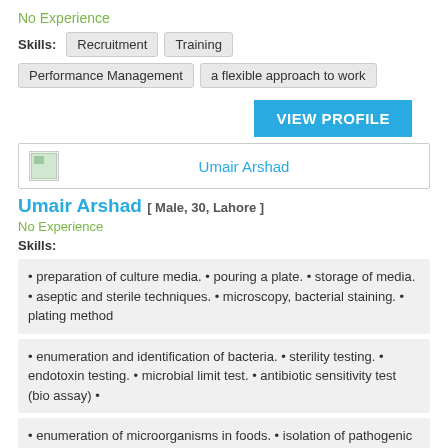No Experience
Skills: Recruitment Training Performance Management a flexible approach to work
VIEW PROFILE
Umair Arshad
Umair Arshad [ Male, 30, Lahore ]
No Experience
Skills:
• preparation of culture media. • pouring a plate. • storage of media. • aseptic and sterile techniques. • microscopy, bacterial staining. • plating method
• enumeration and identification of bacteria. • sterility testing. • endotoxin testing. • microbial limit test. • antibiotic sensitivity test (bio assay) •
• enumeration of microorganisms in foods. • isolation of pathogenic microorganism in food. • most probable number method (mpn). • standard qualitative anal
VIEW PROFILE